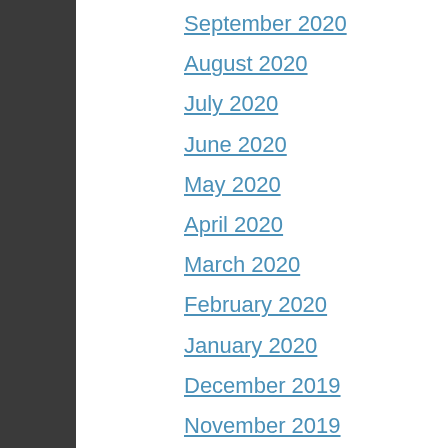September 2020
August 2020
July 2020
June 2020
May 2020
April 2020
March 2020
February 2020
January 2020
December 2019
November 2019
October 2019
September 2019
August 2019
July 2019
August 2018